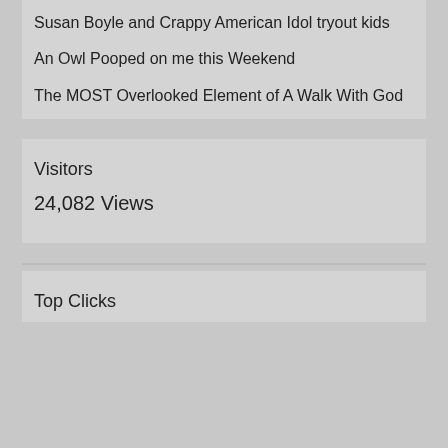Susan Boyle and Crappy American Idol tryout kids
An Owl Pooped on me this Weekend
The MOST Overlooked Element of A Walk With God
Visitors
24,082 Views
Top Clicks